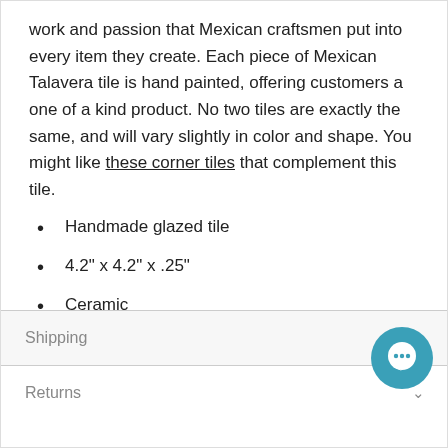work and passion that Mexican craftsmen put into every item they create. Each piece of Mexican Talavera tile is hand painted, offering customers a one of a kind product. No two tiles are exactly the same, and will vary slightly in color and shape. You might like these corner tiles that complement this tile.
Handmade glazed tile
4.2" x 4.2" x .25"
Ceramic
Square
Shipping
Returns